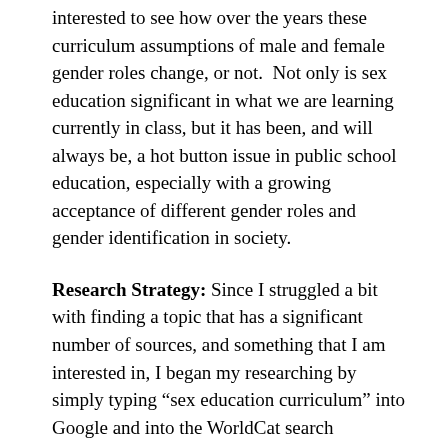interested to see how over the years these curriculum assumptions of male and female gender roles change, or not.  Not only is sex education significant in what we are learning currently in class, but it has been, and will always be, a hot button issue in public school education, especially with a growing acceptance of different gender roles and gender identification in society.
Research Strategy: Since I struggled a bit with finding a topic that has a significant number of sources, and something that I am interested in, I began my researching by simply typing “sex education curriculum” into Google and into the WorldCat search database.  In the Trinity College Library there were many books pertaining to curriculum and sex education in more recent years (2000 and later), which will be helpful.  However, I would like to get curriculum examples from sex